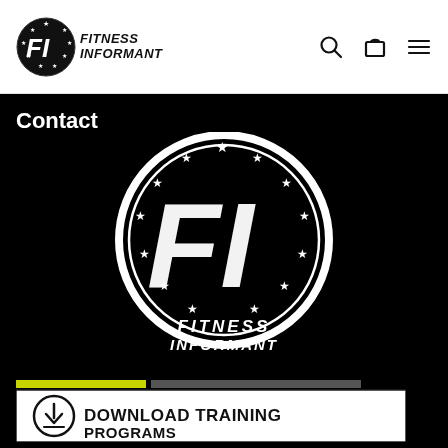Fitness Informant — navigation bar with logo, search, cart, and menu icons
Contact
[Figure (logo): Large Fitness Informant circular logo on black background. White circle with 'FI' letters in distressed style, stars around the inside of the circle, and 'FITNESS INFORMANT' text below in bold italic white letters.]
[Figure (infographic): Download Training Programs button banner with a download arrow icon on the left and bold text 'DOWNLOAD TRAINING PROGRAMS' on a white/light background with a yellow/green accent bar above.]